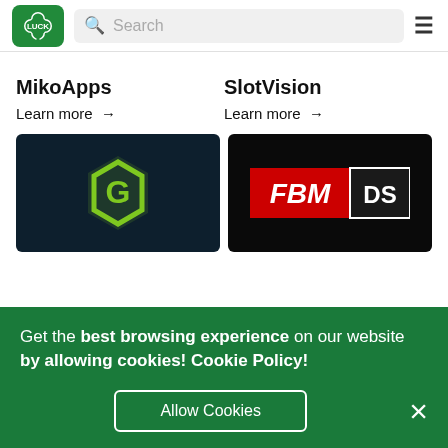[Figure (logo): Luck.com clover logo in green and white, with text LUCK]
Search
≡
MikoApps
Learn more →
SlotVision
Learn more →
[Figure (logo): Dark teal background with a green hexagonal G logo]
[Figure (logo): Black background with FBM DS logo in red and white]
Get the best browsing experience on our website by allowing cookies! Cookie Policy!
Allow Cookies
×